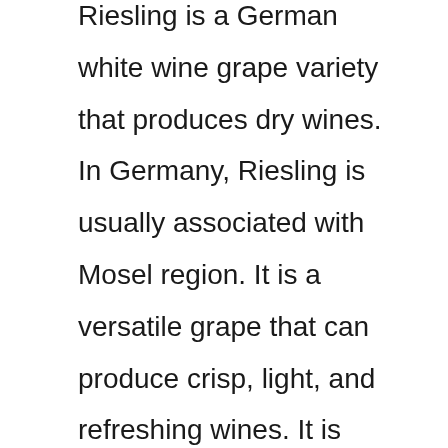Riesling is a German white wine grape variety that produces dry wines. In Germany, Riesling is usually associated with Mosel region. It is a versatile grape that can produce crisp, light, and refreshing wines. It is generally used to make dry wines such as Spätlese late harvest, Auslese selective harvest and